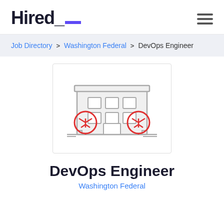Hired_
Job Directory > Washington Federal > DevOps Engineer
[Figure (illustration): Illustration of a company building with trees on either side, grey building outline with red tree icons]
DevOps Engineer
Washington Federal